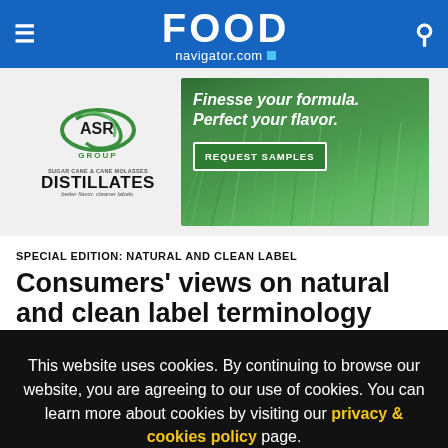FOOD navigator.com
[Figure (illustration): ASR Group advertisement: ASR Group logo with green swirl, 'SUGAR CANE & CANE MOLASSES DISTILLATES better flavor. cleaner labels.' on left. Right side shows green grass background with text 'Finesse your formula. Perfect your flavor.' and a green 'REQUEST SAMPLES' button.]
SPECIAL EDITION: NATURAL AND CLEAN LABEL
Consumers' views on natural and clean label terminology
This website uses cookies. By continuing to browse our website, you are agreeing to our use of cookies. You can learn more about cookies by visiting our privacy & cookies policy page.
I Agree